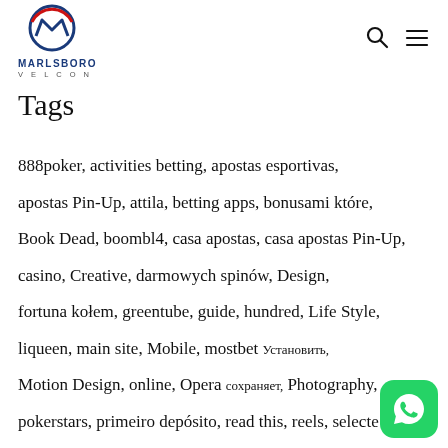MARLSBORO VELCON
Tags
888poker, activities betting, apostas esportivas, apostas Pin-Up, attila, betting apps, bonusami które, Book Dead, boombl4, casa apostas, casa apostas Pin-Up, casino, Creative, darmowych spinów, Design, fortuna kołem, greentube, guide, hundred, Life Style, liqueen, main site, Mobile, mostbet Установить, Motion Design, online, Opera сохраняет, Photography, pokerstars, primeiro depósito, read this, reels, selected, silver, site apostas, sizzling, slots, Slottica Casino, Tech,